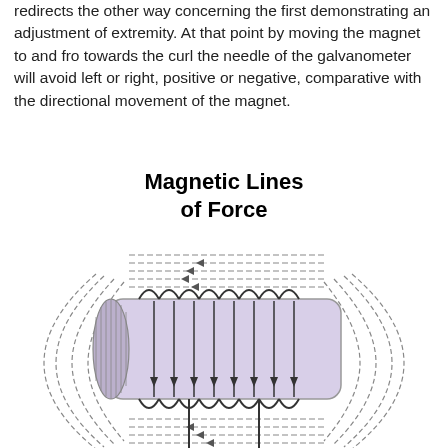redirects the other way concerning the first demonstrating an adjustment of extremity. At that point by moving the magnet to and fro towards the curl the needle of the galvanometer will avoid left or right, positive or negative, comparative with the directional movement of the magnet.
[Figure (engineering-diagram): Diagram of magnetic lines of force around a solenoid coil. The coil is horizontal with a cylindrical core shown in light purple/lavender. Magnetic field lines loop around the outside of the coil in dashed arcs. Inside the coil, vertical arrows point downward indicating field direction. Above the coil, horizontal dashed lines with arrows pointing left (toward the coil) show field lines entering. Below the coil, similar dashed lines with leftward arrows. Two vertical lines extend downward from the coil representing current leads, labeled I and V.]